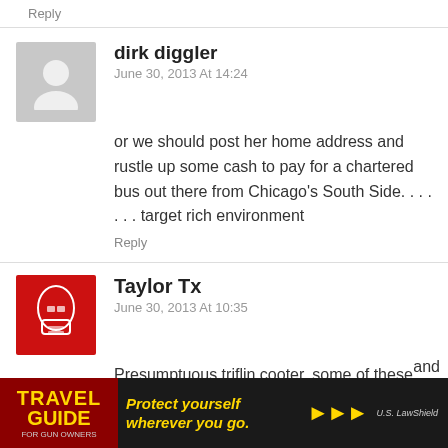Reply
dirk diggler
June 30, 2013 At 14:24
or we should post her home address and rustle up some cash to pay for a chartered bus out there from Chicago's South Side. . . . . . . target rich environment
Reply
Taylor Tx
June 30, 2013 At 10:35
Presumptuous triflin cooter, some of these people in slave states think theyre really working toward that human utopia huh.
[Figure (infographic): Travel Guide for Gun Owners advertisement banner with text 'Protect yourself wherever you go.' and U.S. LawShield branding]
and